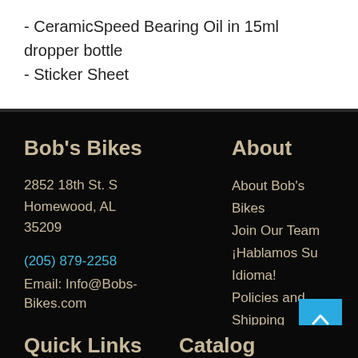- CeramicSpeed Bearing Oil in 15ml dropper bottle
- Sticker Sheet
Bob's Bikes
2852 18th St. S
Homewood, AL
35209
(205) 879-2258
Email: Info@Bobs-Bikes.com
About
About Bob's Bikes
Join Our Team
¡Hablamos Su Idioma!
Policies and Shipping
Quick Links
Catalog